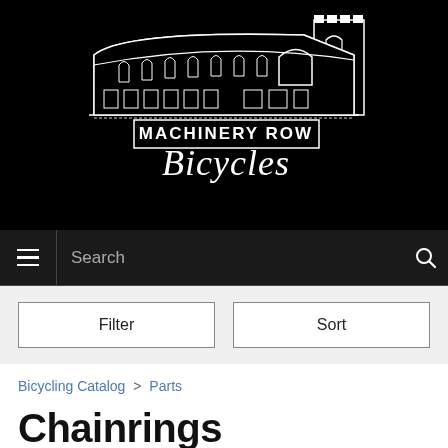[Figure (logo): Machinery Row Bicycles logo — white illustration of a multi-story brick building with a tower on a black background, with the text 'MACHINERY ROW' in a rectangular banner and 'Bicycles' in script lettering below.]
Search
Filter
Sort
Bicycling Catalog > Parts
Chainrings